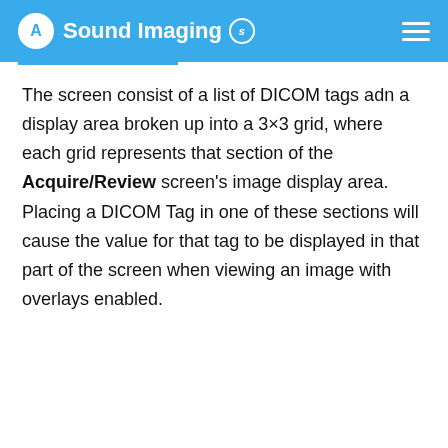Sound Imaging
The screen consist of a list of DICOM tags adn a display area broken up into a 3×3 grid, where each grid represents that section of the Acquire/Review screen's image display area. Placing a DICOM Tag in one of these sections will cause the value for that tag to be displayed in that part of the screen when viewing an image with overlays enabled.